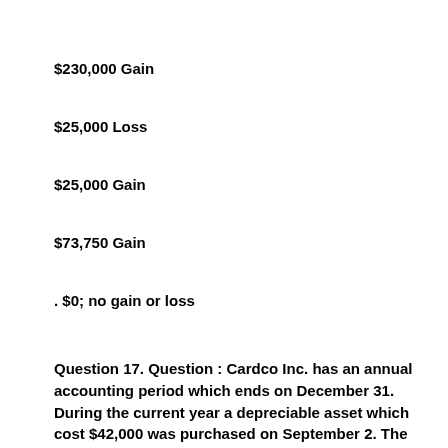$230,000 Gain
$25,000 Loss
$25,000 Gain
$73,750 Gain
. $0; no gain or loss
Question 17. Question : Cardco Inc. has an annual accounting period which ends on December 31. During the current year a depreciable asset which cost $42,000 was purchased on September 2. The asset has